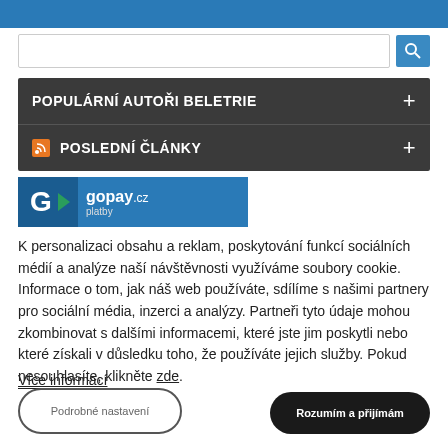[Figure (screenshot): Top blue navigation bar of a website]
[Figure (screenshot): Search input field with a blue search button]
POPULÁRNÍ AUTOŘI BELETRIE
POSLEDNÍ ČLÁNKY
[Figure (logo): GoPay.cz payment logo banner with blue background]
K personalizaci obsahu a reklam, poskytování funkcí sociálních médií a analýze naší návštěvnosti využíváme soubory cookie. Informace o tom, jak náš web používáte, sdílíme s našimi partnery pro sociální média, inzerci a analýzy. Partneři tyto údaje mohou zkombinovat s dalšími informacemi, které jste jim poskytli nebo které získali v důsledku toho, že používáte jejich služby. Pokud nesouhlasíte, klikněte zde.
Více informací
Podrobné nastavení
Rozumím a přijímám